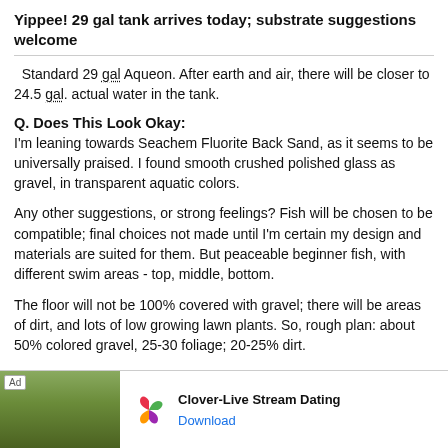Yippee! 29 gal tank arrives today; substrate suggestions welcome
Standard 29 gal Aqueon. After earth and air, there will be closer to 24.5 gal. actual water in the tank.
Q. Does This Look Okay:
I'm leaning towards Seachem Fluorite Back Sand, as it seems to be universally praised. I found smooth crushed polished glass as gravel, in transparent aquatic colors.
Any other suggestions, or strong feelings? Fish will be chosen to be compatible; final choices not made until I'm certain my design and materials are suited for them. But peaceable beginner fish, with different swim areas - top, middle, bottom.
The floor will not be 100% covered with gravel; there will be areas of dirt, and lots of low growing lawn plants. So, rough plan: about 50% colored gravel, 25-30 foliage; 20-25% dirt.
I will design and build the hardscape now, outside the tank, before installing... hardscape...
[Figure (other): Advertisement banner for Clover-Live Stream Dating app showing a woman outdoors, the Clover app icon (colorful four-leaf clover), and a Download link.]